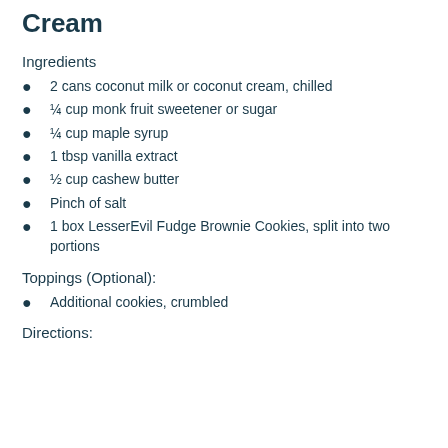Cream
Ingredients
2 cans coconut milk or coconut cream, chilled
¼ cup monk fruit sweetener or sugar
¼ cup maple syrup
1 tbsp vanilla extract
½ cup cashew butter
Pinch of salt
1 box LesserEvil Fudge Brownie Cookies, split into two portions
Toppings (Optional):
Additional cookies, crumbled
Directions: